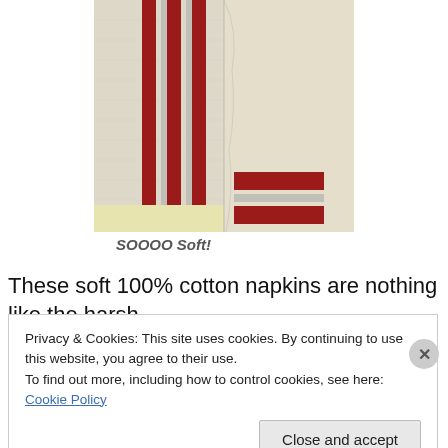[Figure (photo): Close-up photo of white fabric/cloth with red vertical stripes, showing soft cotton texture. Two sections of the fabric side by side.]
SOOOO Soft!
These soft 100% cotton napkins are nothing like the harsh
Privacy & Cookies: This site uses cookies. By continuing to use this website, you agree to their use.
To find out more, including how to control cookies, see here: Cookie Policy
Close and accept